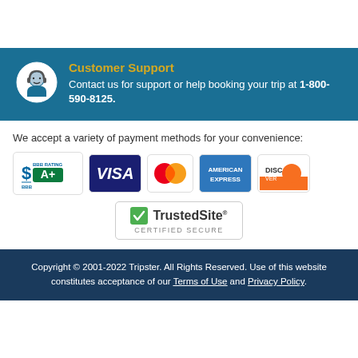Customer Support
Contact us for support or help booking your trip at 1-800-590-8125.
We accept a variety of payment methods for your convenience:
[Figure (logo): BBB Rating A+ logo, Visa logo, Mastercard logo, American Express logo, Discover logo, TrustedSite Certified Secure badge]
Copyright © 2001-2022 Tripster. All Rights Reserved. Use of this website constitutes acceptance of our Terms of Use and Privacy Policy.